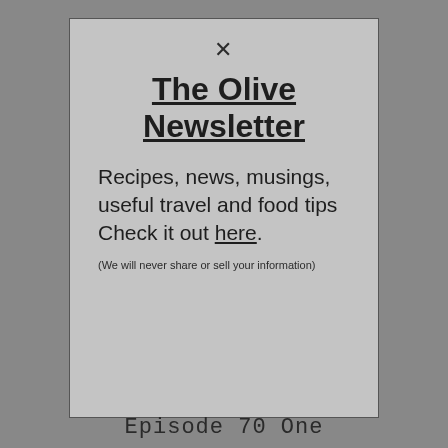The Olive Newsletter
Recipes, news, musings, useful travel and food tips Check it out here.
(We will never share or sell your information)
Episode 70 One